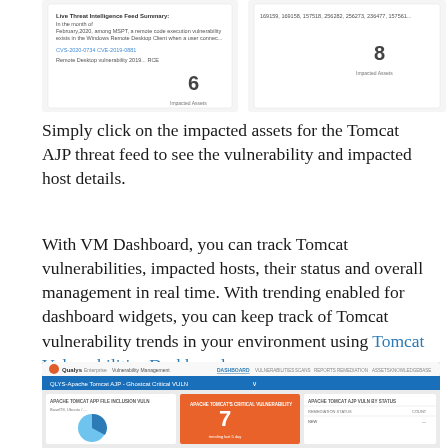[Figure (screenshot): Partial screenshot of a threat intelligence dashboard showing two panels: left panel with Live Threat Intelligence Feed Summary text mentioning CVE-2020-0734, CVE-2019-0881, Remote Desktop vulnerability, showing '6' impacted assets; right panel showing IP addresses 169159, 169158, 157518, 256282, 256273, 236477, 157561 and '8' impacted assets]
Simply click on the impacted assets for the Tomcat AJP threat feed to see the vulnerability and impacted host details.
With VM Dashboard, you can track Tomcat vulnerabilities, impacted hosts, their status and overall management in real time. With trending enabled for dashboard widgets, you can keep track of Tomcat vulnerability trends in your environment using Tomcat Vulnerabilities Dashboard –
[Figure (screenshot): Screenshot of Qualys Enterprise Vulnerability Management dashboard showing QLYS-Apache Tomcat AJP - Ghostcat Critical VULN tab. Three widgets visible: Apache Tomcat App File Inclusion VULN (pie chart), Apache Tomcat's Critical Vulnerability showing number 7, and Apache Tomcat AJP VULN by Status table.]